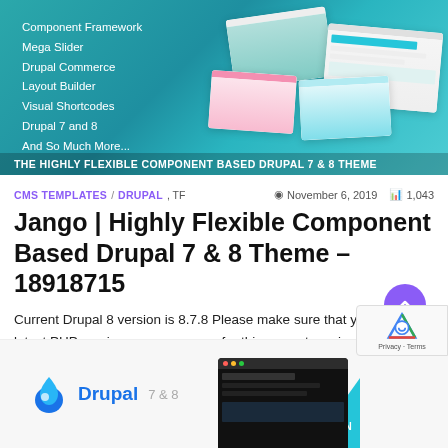[Figure (screenshot): Hero banner for Jango Drupal theme with teal background, list of features on the left, and browser mockup screenshots on the right. Bottom bar reads: THE HIGHLY FLEXIBLE COMPONENT BASED DRUPAL 7 & 8 THEME]
CMS TEMPLATES / DRUPAL, TF   November 6, 2019   1,043
Jango | Highly Flexible Component Based Drupal 7 & 8 Theme – 18918715
Current Drupal 8 version is 8.7.8 Please make sure that you are using latest PHP version on your server, for this newest version, Drupal requires ...
[Figure (logo): Drupal logo with text 'Drupal 7 & 8']
[Figure (screenshot): Dark-themed website screenshot in bottom right area]